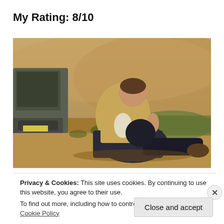My Rating: 8/10
[Figure (photo): A man in a khaki shirt and dark jeans sitting on the ground outdoors, leaning against a vehicle, with dry hills and grass in the background.]
Privacy & Cookies: This site uses cookies. By continuing to use this website, you agree to their use.
To find out more, including how to control cookies, see here: Cookie Policy
Close and accept